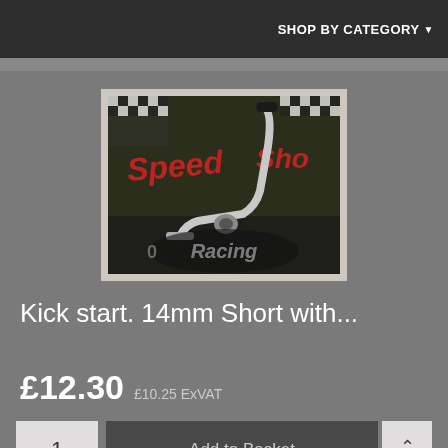SHOP BY CATEGORY ▼
[Figure (photo): A chrome kick start lever (14mm short) photographed against a Speed Shop Racing branded background with checkered flags and red/black logo.]
Kick start. 14mm Short with...
£12.30  £10.25 ExVAT
1   Add to Basket